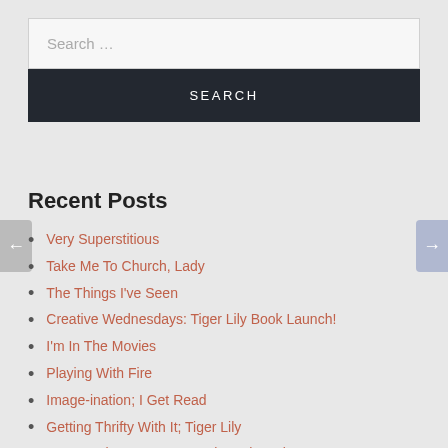Search …
SEARCH
Recent Posts
Very Superstitious
Take Me To Church, Lady
The Things I've Seen
Creative Wednesdays: Tiger Lily Book Launch!
I'm In The Movies
Playing With Fire
Image-ination; I Get Read
Getting Thrifty With It; Tiger Lily
In Memoriam: James Douglas Whytock
Skin Game